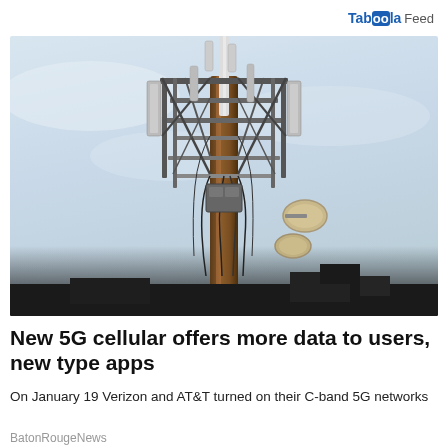Taboola Feed
[Figure (photo): Cell tower with numerous antenna arrays and cable equipment mounted on a rusted metal pole, photographed against a gray overcast sky]
New 5G cellular offers more data to users, new type apps
On January 19 Verizon and AT&T turned on their C-band 5G networks
BatonRougeNews